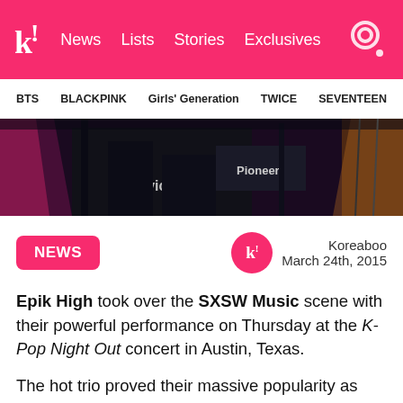k! News Lists Stories Exclusives
BTS BLACKPINK Girls' Generation TWICE SEVENTEEN
[Figure (photo): Concert stage photo showing DJ equipment, Pioneer logo visible, dark moody lighting with pink stage lights]
NEWS
Koreaboo
March 24th, 2015
Epik High took over the SXSW Music scene with their powerful performance on Thursday at the K-Pop Night Out concert in Austin, Texas.
The hot trio proved their massive popularity as they took the stage on March 19th, trending as one of the top hashtags at SXSW 2015. Complex Music released a report